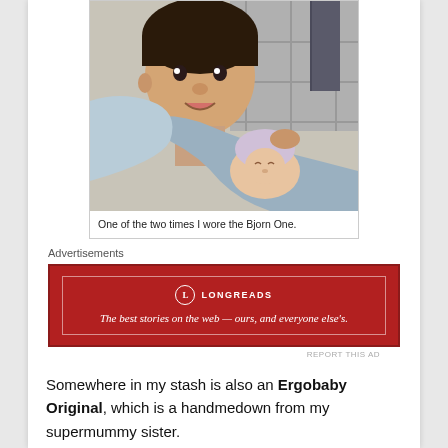[Figure (photo): A woman with short dark hair looking over her shoulder at the camera, carrying a sleeping newborn baby in a baby carrier/sling (Bjorn One). Outdoor setting with tiled floor visible in background.]
One of the two times I wore the Bjorn One.
[Figure (other): Longreads advertisement. Red background with white border. Logo shows circle with 'L' and text 'LONGREADS'. Tagline: The best stories on the web — ours, and everyone else's.]
REPORT THIS AD
Somewhere in my stash is also an Ergobaby Original, which is a handmedown from my supermummy sister.